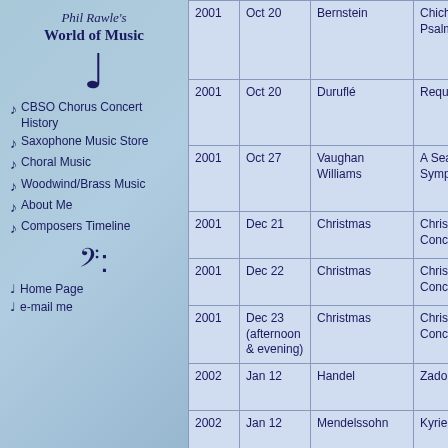Phil Rawle's World of Music
CBSO Chorus Concert History
Saxophone Music Store
Choral Music
Woodwind/Brass Music
About Me
Composers Timeline
Home Page
e-mail me
| Year | Date | Composer | Work |
| --- | --- | --- | --- |
| 2001 | Oct 20 | Bernstein | Chiches Psalms |
| 2001 | Oct 20 | Duruflé | Requiem |
| 2001 | Oct 27 | Vaughan Williams | A Sea Sympho |
| 2001 | Dec 21 | Christmas | Christm Concert |
| 2001 | Dec 22 | Christmas | Christm Concert |
| 2001 | Dec 23 (afternoon & evening) | Christmas | Christm Concert |
| 2002 | Jan 12 | Handel | Zadok th |
| 2002 | Jan 12 | Mendelssohn | Kyrie E Heilig |